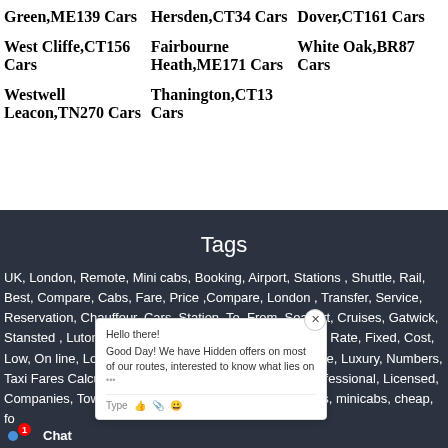Green,ME139 Cars
Hersden,CT34 Cars
Dover,CT161 Cars
West Cliffe,CT156 Cars
Fairbourne Heath,ME171 Cars
White Oak,BR87 Cars
Westwell Leacon,TN270 Cars
Thanington,CT13 Cars
Tags
UK, London, Remote, Mini cabs, Booking, Airport, Stations , Shuttle, Rail, Best, Compare, Cabs, Fare, Price ,Compare, London , Transfer, Service, Reservation, Chauffeur, Cars, Station, To, From, Seaport, Cruises, Gatwick, Stansted , Luton , In, From, To, Cheap, Hire, Firm, Pure, Rate, Fixed, Cost, Low, On line, Local Taxi, Local Taxi Cab Service, Executive, Luxury, Numbers, Taxi Fares Calculator, Area, P, Cheaper, Compares, Professional, Licensed, Companies, Towns, Pick up, Drop off, Cabs, airport taxis, minicabs, cheap, for